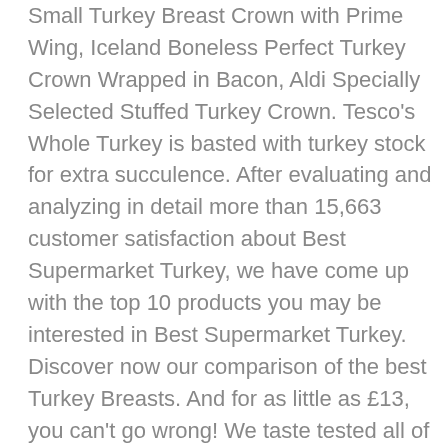Small Turkey Breast Crown with Prime Wing, Iceland Boneless Perfect Turkey Crown Wrapped in Bacon, Aldi Specially Selected Stuffed Turkey Crown. Tesco's Whole Turkey is basted with turkey stock for extra succulence. After evaluating and analyzing in detail more than 15,663 customer satisfaction about Best Supermarket Turkey, we have come up with the top 10 products you may be interested in Best Supermarket Turkey. Discover now our comparison of the best Turkey Breasts. And for as little as £13, you can't go wrong! We taste tested all of the supermarket turkeys in our kitchens and these are our favourites. Which is why opting for a supermarket own, or specially produced turkey is always a … Morrisons succulent bronze turkeys are rich and full of flavour, and come in a variety of sizes from 3-6.5kg. Roasting Pans with Racks. Although ALDI scored top marks for all research categories